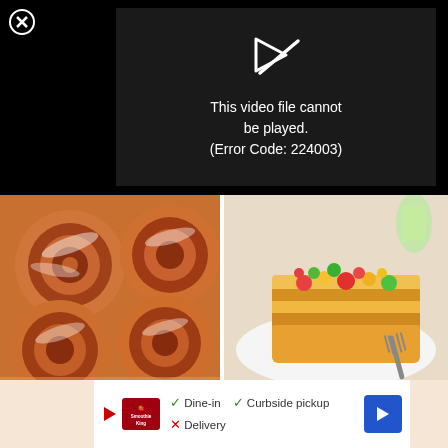[Figure (screenshot): Black video player panel showing error message: This video file cannot be played. (Error Code: 224003). Has a close/X button in top left and a play-icon arrow above the text.]
[Figure (photo): Close-up photo of healthy cinnamon rolls with white icing glaze, baked in a pan.]
Healthy Cinnamon Rolls (Gooey, Moist and Flavorful!)
[Figure (photo): Photo of gluten free lasagna with polenta and vegetables on a white plate with a fork, colorful corn, tomatoes, and greens visible, with a green drink in background.]
Gluten Free Lasagna with Polenta and Vegetables
[Figure (screenshot): Advertisement banner for Smoothie King showing dine-in, curbside pickup, delivery options with a navigation arrow icon.]